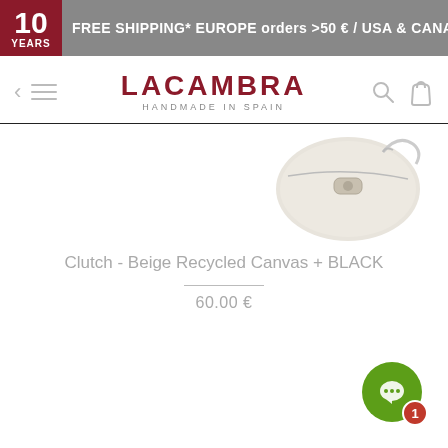10 YEARS FREE SHIPPING* EUROPE orders >50 € / USA & CANADA orde
LACAMBRA HANDMADE IN SPAIN
[Figure (photo): Partial product image of a beige clutch bag at the top right of the page]
Clutch - Beige Recycled Canvas + BLACK
60.00 €
[Figure (illustration): Green chat bubble icon with a speech bubble and red notification badge showing 1]